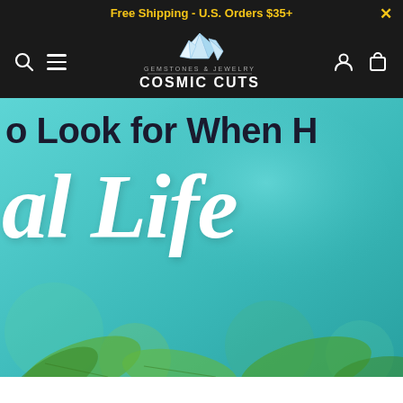Free Shipping - U.S. Orders $35+
[Figure (logo): Cosmic Cuts gemstones and jewelry logo with crystal graphic, navigation bar with search, menu, account, and cart icons on dark background]
[Figure (photo): Promotional hero image with teal/turquoise background, partial text reading 'o Look for When H' in dark sans-serif and 'al Life' in large white italic script font, with green tropical plant leaves visible at bottom]